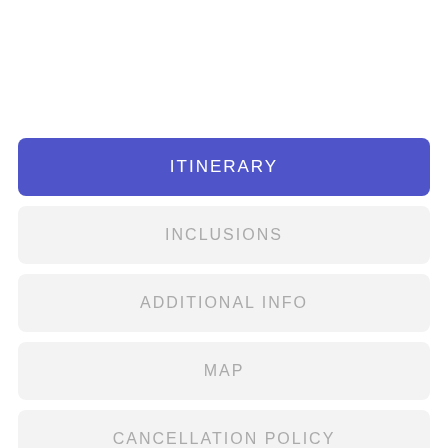ITINERARY
INCLUSIONS
ADDITIONAL INFO
MAP
CANCELLATION POLICY
LEAVE A REVIEW